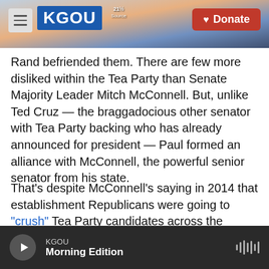KGOU | Donate
Rand befriended them. There are few more disliked within the Tea Party than Senate Majority Leader Mitch McConnell. But, unlike Ted Cruz — the braggadocious other senator with Tea Party backing who has already announced for president — Paul formed an alliance with McConnell, the powerful senior senator from his state.
That's despite McConnell's saying in 2014 that establishment Republicans were going to "crush" Tea Party candidates across the country. Nonetheless, Rand endorsed McConnell in his contentious re-election. In turn, McConnell has
KGOU | Morning Edition